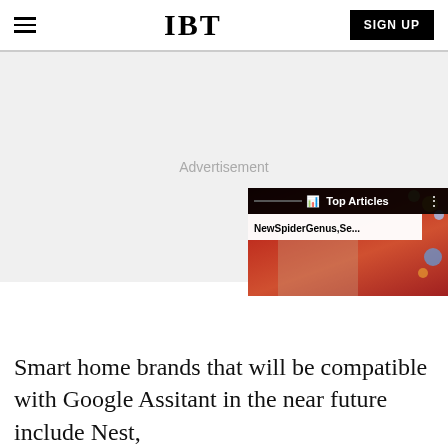IBT
[Figure (screenshot): Advertisement placeholder area with gray background]
[Figure (screenshot): IBT inline widget overlay showing Top Articles panel with 'NewSpiderGenus,Se...' headline over a decorative image]
Smart home brands that will be compatible with Google Assitant in the near future include Nest,